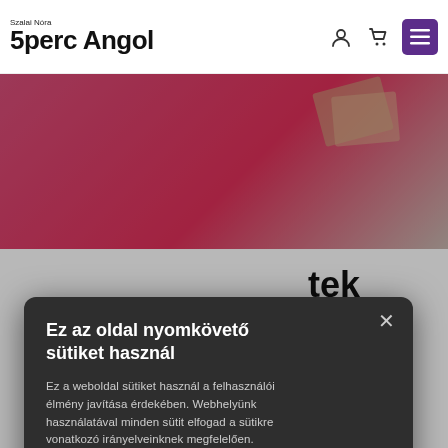[Figure (screenshot): 5perc Angol website header with logo 'Szalai Nóra 5perc Angol', user icon, cart icon, and purple menu button]
[Figure (photo): Pink and beige background image visible behind cookie modal]
tek
HELYZET AZ -
SSZE ŐKET
Ez az oldal nyomkövető sütiket használ
Ez a weboldal sütiket használ a felhasználói élmény javítása érdekében. Webhelyünk használatával minden sütit elfogad a sütikre vonatkozó irányelveinknek megfelelően. Részletek
SÜTIK ELFOGADÁSA
SÜTIK KIKAPCSOLÁSA